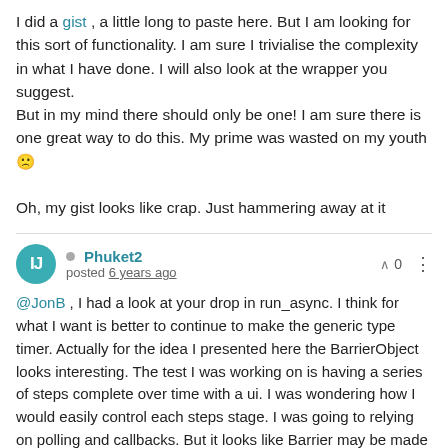I did a gist , a little long to paste here. But I am looking for this sort of functionality. I am sure I trivialise the complexity in what I have done. I will also look at the wrapper you suggest.
But in my mind there should only be one! I am sure there is one great way to do this. My prime was wasted on my youth 🙁

Oh, my gist looks like crap. Just hammering away at it
Phuket2 posted 6 years ago
∧ 0
@JonB , I had a look at your drop in run_async. I think for what I want is better to continue to make the generic type timer. Actually for the idea I presented here the BarrierObject looks interesting. The test I was working on is having a series of steps complete over time with a ui. I was wondering how I would easily control each steps stage. I was going to relying on polling and callbacks. But it looks like Barrier may be made for this sort of thing. Yet to try it.
Phuket2 posted 6 years ago
∧ 0